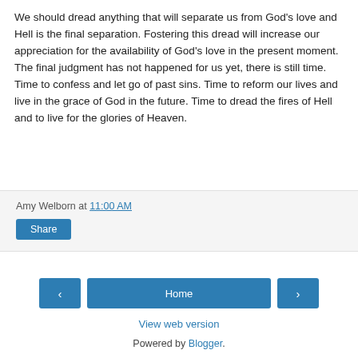We should dread anything that will separate us from God's love and Hell is the final separation. Fostering this dread will increase our appreciation for the availability of God's love in the present moment. The final judgment has not happened for us yet, there is still time. Time to confess and let go of past sins. Time to reform our lives and live in the grace of God in the future. Time to dread the fires of Hell and to live for the glories of Heaven.
Amy Welborn at 11:00 AM
Share
‹
Home
›
View web version
Powered by Blogger.